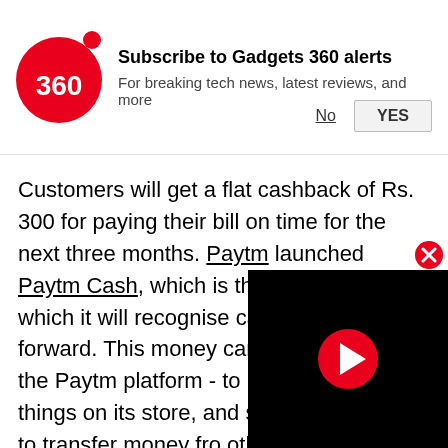[Figure (screenshot): Gadgets 360 push notification subscription banner with logo, title 'Subscribe to Gadgets 360 alerts', subtitle 'For breaking tech news, latest reviews, and more', and No/YES buttons]
Customers will get a flat cashback of Rs. 300 for paying their bill on time for the next three months. Paytm launched Paytm Cash, which is the name under which it will recognise cashbacks going forward. This money can only be spent on the Paytm platform - to pay your bills, buy things on its store, and so longer be able to transfer money fro others, or to their bank accounts. Th announced the iOS launch of BHIM after launching it on Android. It also announced the availability of physical debit cards for Paytm Payments Bank customers.
[Figure (screenshot): Black video player overlay with red circular play button in center, and red close (x) button in upper right]